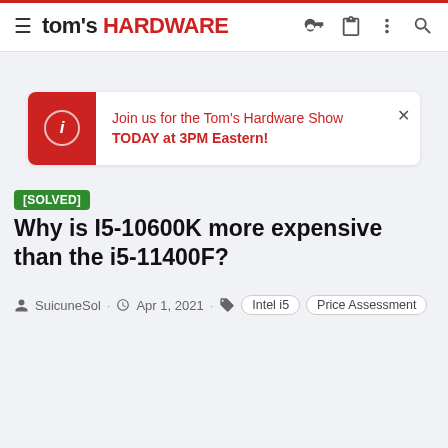tom's HARDWARE
Join us for the Tom's Hardware Show TODAY at 3PM Eastern!
[SOLVED] Why is I5-10600K more expensive than the i5-11400F?
SuicuneSol · Apr 1, 2021 · Intel i5  Price Assessment
< CPUs